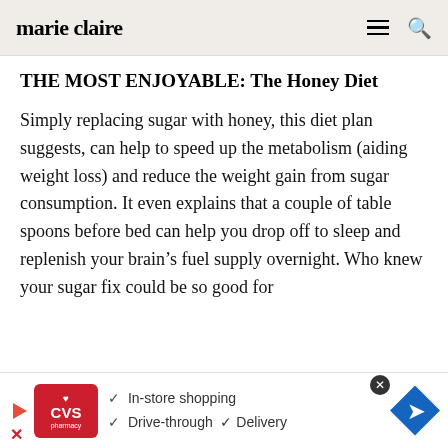marie claire
THE MOST ENJOYABLE: The Honey Diet
Simply replacing sugar with honey, this diet plan suggests, can help to speed up the metabolism (aiding weight loss) and reduce the weight gain from sugar consumption. It even explains that a couple of table spoons before bed can help you drop off to sleep and replenish your brain’s fuel supply overnight. Who knew your sugar fix could be so good for
[Figure (other): CVS Pharmacy advertisement banner with logo, checkmarks for In-store shopping, Drive-through, and Delivery, and a blue diamond navigation arrow icon]